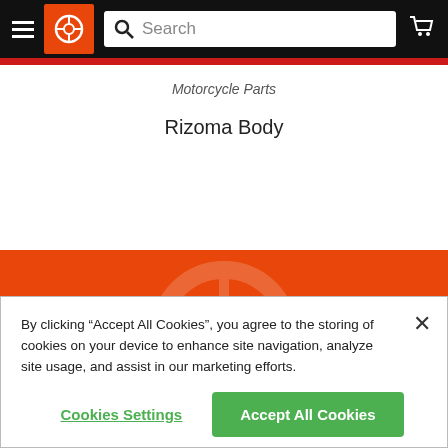[Figure (screenshot): Navigation bar with hamburger menu, orange logo with wheel icon, search bar, and cart icon on black background]
Motorcycle Parts
Rizoma Body
[Figure (infographic): Orange background promotional section with text 'SUBSCRIBE TO THE INSIDE LINE' and 'DEALS, NEW RELEASES & VIDEO REVIEWS']
By clicking “Accept All Cookies”, you agree to the storing of cookies on your device to enhance site navigation, analyze site usage, and assist in our marketing efforts.
Cookies Settings
Accept All Cookies